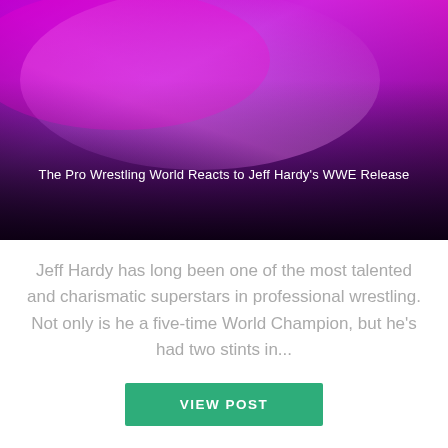[Figure (illustration): Hero banner image with purple and magenta gradient color wash, dark bottom half. White text overlay reads: The Pro Wrestling World Reacts to Jeff Hardy's WWE Release]
Jeff Hardy has long been one of the most talented and charismatic superstars in professional wrestling. Not only is he a five-time World Champion, but he's had two stints in...
VIEW POST
SHARE →